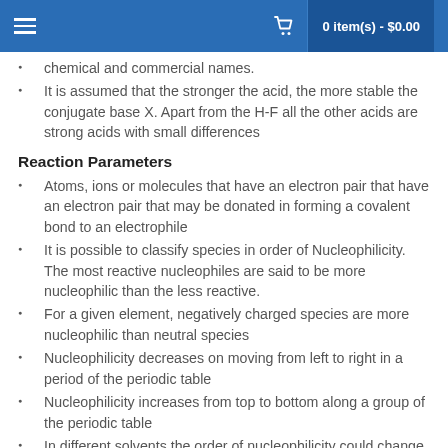0 item(s) - $0.00
chemical and commercial names.
It is assumed that the stronger the acid, the more stable the conjugate base X. Apart from the H-F all the other acids are strong acids with small differences
Reaction Parameters
Atoms, ions or molecules that have an electron pair that have an electron pair that may be donated in forming a covalent bond to an electrophile
It is possible to classify species in order of Nucleophilicity. The most reactive nucleophiles are said to be more nucleophilic than the less reactive.
For a given element, negatively charged species are more nucleophilic than neutral species
Nucleophilicity decreases on moving from left to right in a period of the periodic table
Nucleophilicity increases from top to bottom along a group of the periodic table
In different solvents the order of nucleophilicity could change slightly
The degree of substitution on the carbon has a great effect